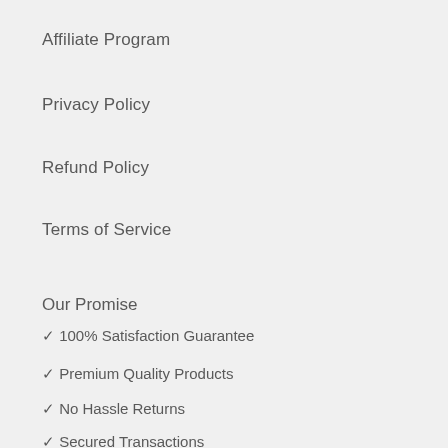Affiliate Program
Privacy Policy
Refund Policy
Terms of Service
Our Promise
✓ 100% Satisfaction Guarantee
✓ Premium Quality Products
✓ No Hassle Returns
✓ Secured Transactions